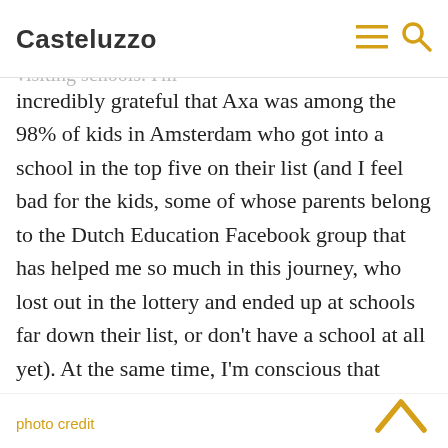Casteluzzo
about this process before we moved to Amsterdam, and it was a pretty intense few months that we were visiting schools. I'm incredibly grateful that Axa was among the 98% of kids in Amsterdam who got into a school in the top five on their list (and I feel bad for the kids, some of whose parents belong to the Dutch Education Facebook group that has helped me so much in this journey, who lost out in the lottery and ended up at schools far down their list, or don’t have a school at all yet). At the same time, I’m conscious that Axa’s middle/high school journey is just beginning, and I’m sure there will be other things to figure out. But for now, I’m just enjoying celebrating this great opportunity for her.
photo credit